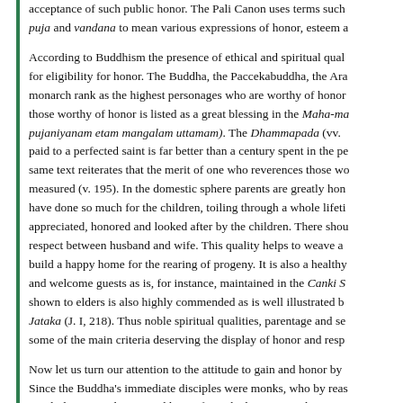acceptance of such public honor. The Pali Canon uses terms such as puja and vandana to mean various expressions of honor, esteem a
According to Buddhism the presence of ethical and spiritual qualities is the criterion for eligibility for honor. The Buddha, the Paccekabuddha, the Ara... monarch rank as the highest personages who are worthy of honor... those worthy of honor is listed as a great blessing in the Maha-ma... pujaniyanam etam mangalam uttamam). The Dhammapada (vv. ... paid to a perfected saint is far better than a century spent in the pe... same text reiterates that the merit of one who reverences those wo... measured (v. 195). In the domestic sphere parents are greatly hon... have done so much for the children, toiling through a whole lifeti... appreciated, honored and looked after by the children. There shou... respect between husband and wife. This quality helps to weave a ... build a happy home for the rearing of progeny. It is also a healthy... and welcome guests as is, for instance, maintained in the Canki S... shown to elders is also highly commended as is well illustrated b... Jataka (J. I, 218). Thus noble spiritual qualities, parentage and se... some of the main criteria deserving the display of honor and resp...
Now let us turn our attention to the attitude to gain and honor by ... Since the Buddha's immediate disciples were monks, who by reas... regularly received gains and honor from the laity, it is to be expec... this subject are addressed primarily to the monks and their concer... have committed themselves fully to the quest for deliverance, the... naturally takes their special vocation into account. However, wh...